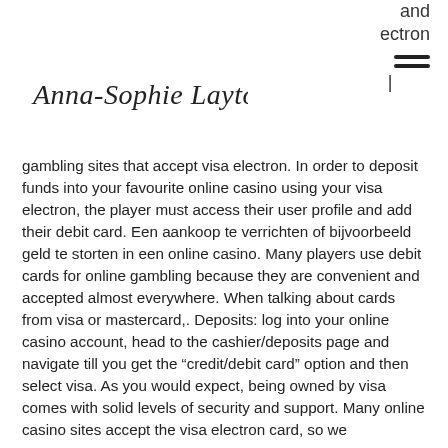and
ectron
[Figure (logo): Handwritten cursive signature/logo reading 'Anna-Sophie Laytommes']
gambling sites that accept visa electron. In order to deposit funds into your favourite online casino using your visa electron, the player must access their user profile and add their debit card. Een aankoop te verrichten of bijvoorbeeld geld te storten in een online casino. Many players use debit cards for online gambling because they are convenient and accepted almost everywhere. When talking about cards from visa or mastercard,. Deposits: log into your online casino account, head to the cashier/deposits page and navigate till you get the “credit/debit card” option and then select visa. As you would expect, being owned by visa comes with solid levels of security and support. Many online casino sites accept the visa electron card, so we